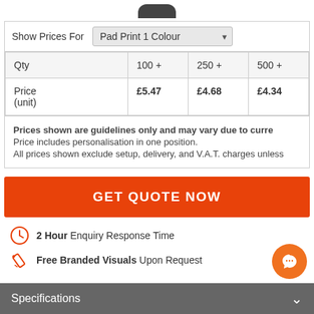[Figure (other): Partial product logo/image at top of page]
| Show Prices For | Pad Print 1 Colour |
| --- | --- |
| Qty | 100 + | 250 + | 500 + |
| Price (unit) | £5.47 | £4.68 | £4.34 |
Prices shown are guidelines only and may vary due to curre Price includes personalisation in one position. All prices shown exclude setup, delivery, and V.A.T. charges unless
GET QUOTE NOW
2 Hour Enquiry Response Time
Free Branded Visuals Upon Request
Specifications